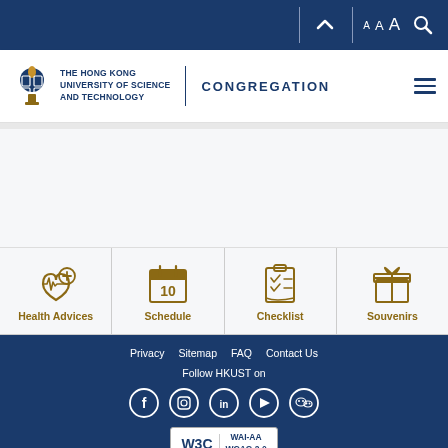A A A [search]
[Figure (logo): HKUST logo with torch icon and text: THE HONG KONG UNIVERSITY OF SCIENCE AND TECHNOLOGY | CONGREGATION]
[Figure (infographic): Four icon navigation items: Health Advices (heartbeat/cross icon), Schedule (calendar with 10), Checklist (checklist icon), Souvenirs (gift box icon)]
Privacy  Sitemap  FAQ  Contact Us  Follow HKUST on  [Facebook] [Instagram] [LinkedIn] [YouTube] [WeChat]  W3C WAI-AA WCAG 2.0